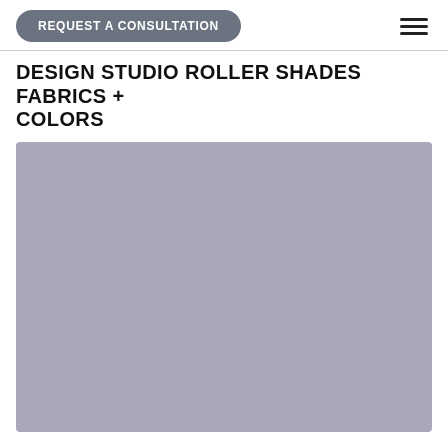REQUEST A CONSULTATION
DESIGN STUDIO ROLLER SHADES FABRICS + COLORS
[Figure (photo): Close-up photo of a fabric with a repeating botanical leaf/sprig pattern in navy blue and white on a muted gray-lavender background, used for roller shades.]